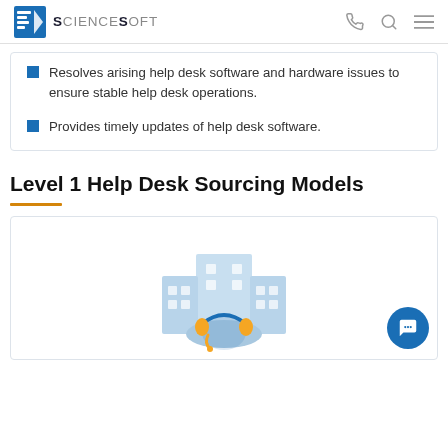ScienceSoft
Resolves arising help desk software and hardware issues to ensure stable help desk operations.
Provides timely updates of help desk software.
Level 1 Help Desk Sourcing Models
[Figure (illustration): Illustration of a building with a headset operator at the front, representing an in-house help desk sourcing model.]